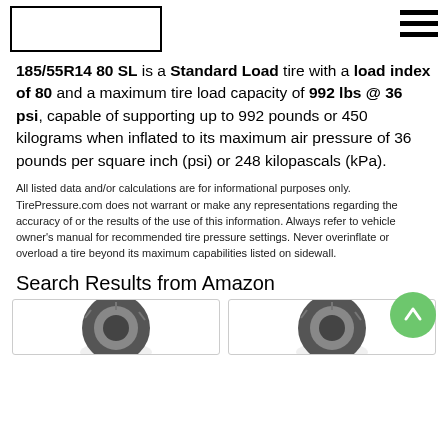185/55R14 80 SL is a Standard Load tire with a load index of 80 and a maximum tire load capacity of 992 lbs @ 36 psi, capable of supporting up to 992 pounds or 450 kilograms when inflated to its maximum air pressure of 36 pounds per square inch (psi) or 248 kilopascals (kPa).
All listed data and/or calculations are for informational purposes only. TirePressure.com does not warrant or make any representations regarding the accuracy of or the results of the use of this information. Always refer to vehicle owner's manual for recommended tire pressure settings. Never overinflate or overload a tire beyond its maximum capabilities listed on sidewall.
Search Results from Amazon
[Figure (photo): Two tire product images from Amazon search results, shown partially at the bottom of the page.]